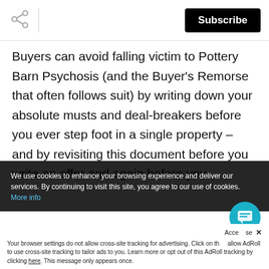[Figure (other): Share icon (social share button) in the top navigation bar]
[Figure (other): Subscribe button - black rounded rectangle with white text 'Subscribe']
Buyers can avoid falling victim to Pottery Barn Psychosis (and the Buyer's Remorse that often follows suit) by writing down your absolute musts and deal-breakers before you ever step foot in a single property – and by revisiting this document before you write an offer and again before you
We use cookies to enhance your browsing experience and deliver our services. By continuing to visit this site, you agree to our use of cookies. More info
Acce  se ✕
Your browser settings do not allow cross-site tracking for advertising. Click on th  allow AdRoll to use cross-site tracking to tailor ads to you. Learn more or opt out of this AdRoll tracking by clicking here. This message only appears once.